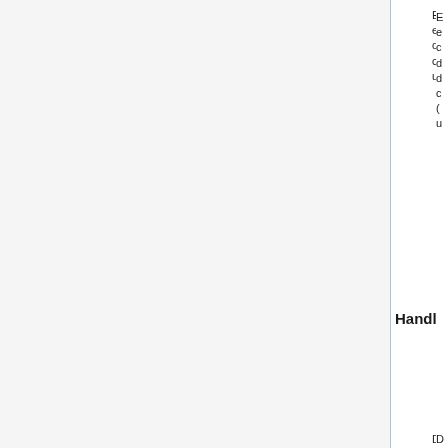HandleDamage
bullet item 1 (partial, clipped at right edge)
bullet item 2 (partial, clipped at right edge)
bullet item 3 (partial, clipped at right edge)